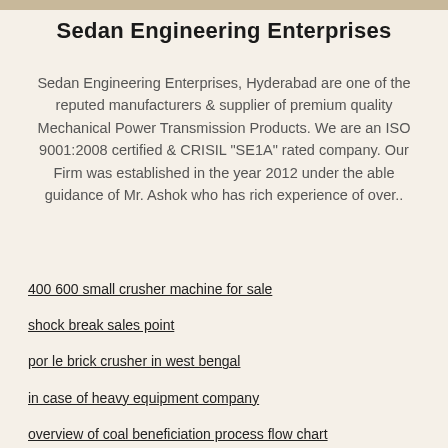[Figure (other): Decorative header bar image at top of page]
Sedan Engineering Enterprises
Sedan Engineering Enterprises, Hyderabad are one of the reputed manufacturers & supplier of premium quality Mechanical Power Transmission Products. We are an ISO 9001:2008 certified & CRISIL "SE1A" rated company. Our Firm was established in the year 2012 under the able guidance of Mr. Ashok who has rich experience of over..
400 600 small crusher machine for sale
shock break sales point
por le brick crusher in west bengal
in case of heavy equipment company
overview of coal beneficiation process flow chart
crushed marble message
bench rock related